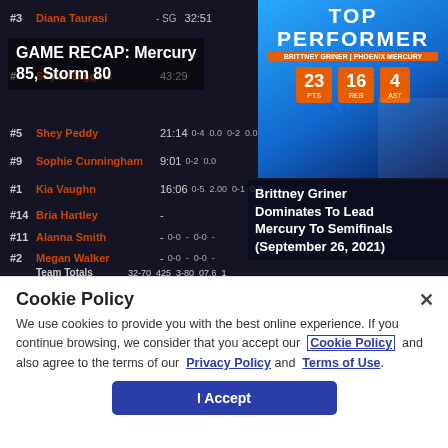[Figure (screenshot): Dark sports stats page showing Mercury vs Storm game players with numbers and times. Background shows basketball game.]
GAME RECAP: Mercury 85, Storm 80
[Figure (infographic): Top Performer card showing scores 23 PTS, 16 REB, 4 AST with blue gradient background]
Brittney Griner Dominates To Lead Mercury To Semifinals (September 26, 2021)
| # | Player | Time | Stats |
| --- | --- | --- | --- |
| #3 | Diana Taurasi - SG | 32:51 |  |
| #4 | Skylar Diggins | 43:29 |  |
| #5 | Shey Peddy | 21:14 | 0-4  0.0  0-2  0.0 |
| #9 | Sophie Cunningham | 9:01 | 0-2  0.0 |
| #1 | Kia Vaughn | 16:06 | 0-5  2.00  0-1  0.0 |
| #14 | Bria Hartley | - |  |
| #11 | Alanna Smith | - | 0-0  -  0-0  - |
| #2 | Megan Walker | - | 0-0  -  0-0  - |
|  | Team Totals | 32 | 32-70  425  3-80  07.6  1 |
Cookie Policy
We use cookies to provide you with the best online experience. If you continue browsing, we consider that you accept our Cookie Policy and also agree to the terms of our Privacy Policy and Terms of Use.
I Accept